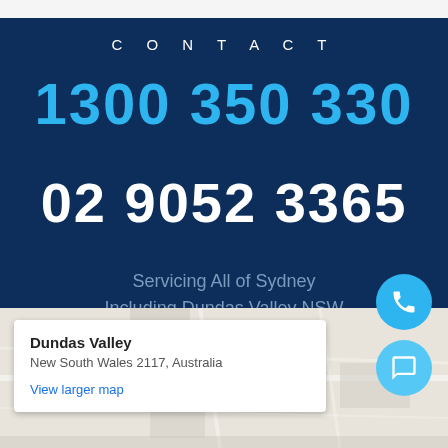CONTACT
1300 350 330
02 9052 3365
Servicing All of Sydney
Including Dundas Valley NSW
[Figure (map): Google Maps embed showing Dundas Valley, New South Wales 2117, Australia with a white info popup overlay]
Dundas Valley
New South Wales 2117, Australia
View larger map